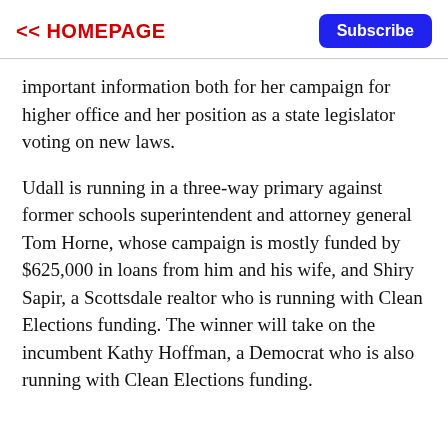<< HOMEPAGE | Subscribe
important information both for her campaign for higher office and her position as a state legislator voting on new laws.
Udall is running in a three-way primary against former schools superintendent and attorney general Tom Horne, whose campaign is mostly funded by $625,000 in loans from him and his wife, and Shiry Sapir, a Scottsdale realtor who is running with Clean Elections funding. The winner will take on the incumbent Kathy Hoffman, a Democrat who is also running with Clean Elections funding.